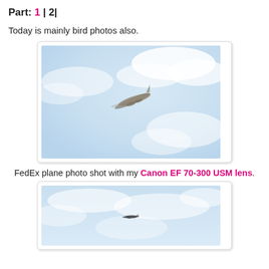Part: 1 | 2|
Today is mainly bird photos also.
[Figure (photo): A FedEx airplane photographed in flight against a cloudy blue-white sky, slightly blurry, viewed from below.]
FedEx plane photo shot with my Canon EF 70-300 USM lens.
[Figure (photo): An airplane photographed in flight against a light blue sky with clouds, viewed from below, small and centered in frame.]